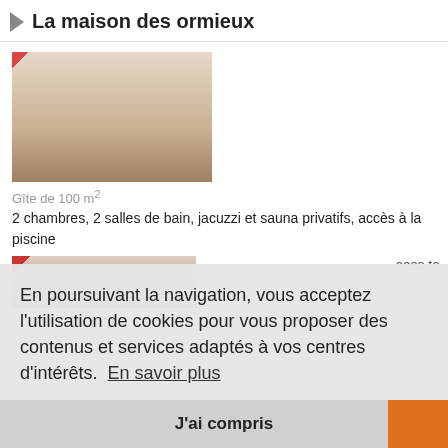La maison des ormieux
[Figure (photo): Interior room photo showing a living area with red accents and cushions]
Gîte de 100 m²
2 chambres, 2 salles de bain, jacuzzi et sauna privatifs, accès à la piscine
[Figure (photo): Partial thumbnail of interior room photo]
En poursuivant la navigation, vous acceptez l'utilisation de cookies pour vous proposer des contenus et services adaptés à vos centres d'intérêts.  En savoir plus
J'ai compris